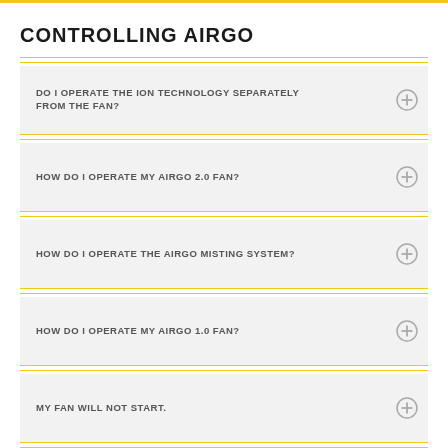CONTROLLING AIRGO
DO I OPERATE THE ION TECHNOLOGY SEPARATELY FROM THE FAN?
HOW DO I OPERATE MY AIRGO 2.0 FAN?
HOW DO I OPERATE THE AIRGO MISTING SYSTEM?
HOW DO I OPERATE MY AIRGO 1.0 FAN?
MY FAN WILL NOT START.